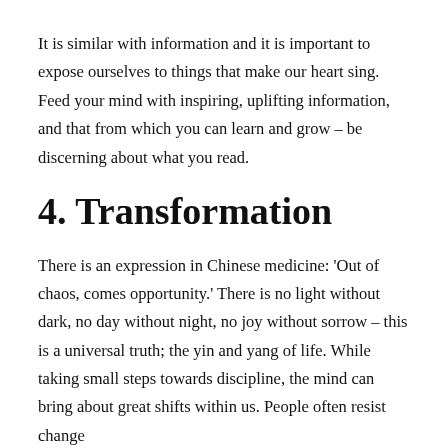It is similar with information and it is important to expose ourselves to things that make our heart sing. Feed your mind with inspiring, uplifting information, and that from which you can learn and grow – be discerning about what you read.
4. Transformation
There is an expression in Chinese medicine: 'Out of chaos, comes opportunity.' There is no light without dark, no day without night, no joy without sorrow – this is a universal truth; the yin and yang of life. While taking small steps towards discipline, the mind can bring about great shifts within us. People often resist change because they think they have to make a complete overhaul